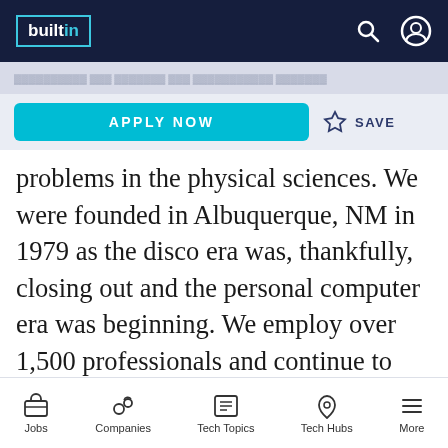builtin
APPLY NOW  ☆ SAVE
problems in the physical sciences. We were founded in Albuquerque, NM in 1979 as the disco era was, thankfully, closing out and the personal computer era was beginning. We employ over 1,500 professionals and continue to grow. ARA offices throughout the U.S. and Canada provide a broad range of technical expertise in defense, civil, and health technologies, computer software, and simulation, systems analysis, environmental technologies, and testing
Jobs  Companies  Tech Topics  Tech Hubs  More